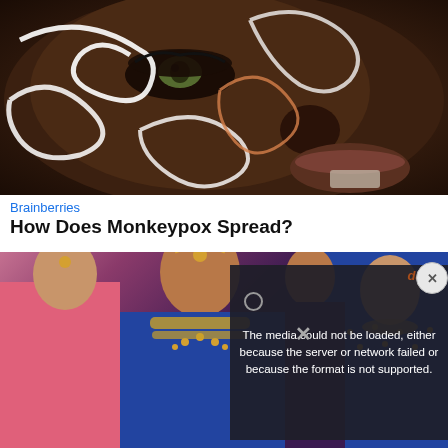[Figure (photo): Close-up photo of a dark-skinned person's face with white artistic paint swirls/designs and green eye, dramatic artistic makeup]
Brainberries
How Does Monkeypox Spread?
[Figure (photo): Photo of Indian women dressed as brides in elaborate blue and gold traditional bridal costumes and jewelry]
[Figure (screenshot): Video player error overlay: 'The media could not be loaded, either because the server or network failed or because the format is not supported.']